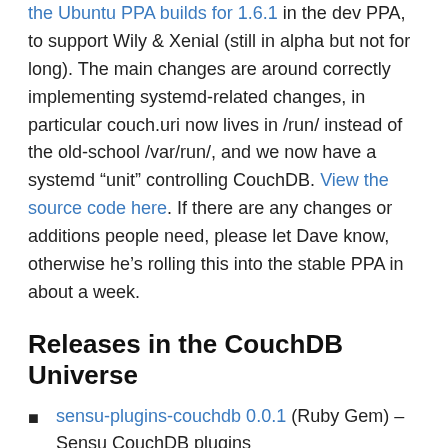the Ubuntu PPA builds for 1.6.1 in the dev PPA, to support Wily & Xenial (still in alpha but not for long). The main changes are around correctly implementing systemd-related changes, in particular couch.uri now lives in /run/ instead of the old-school /var/run/, and we now have a systemd “unit” controlling CouchDB. View the source code here. If there are any changes or additions people need, please let Dave know, otherwise he's rolling this into the stable PPA in about a week.
Releases in the CouchDB Universe
sensu-plugins-couchdb 0.0.1 (Ruby Gem) – Sensu CouchDB plugins
generator-xprscouch – Yeoman generator for Express